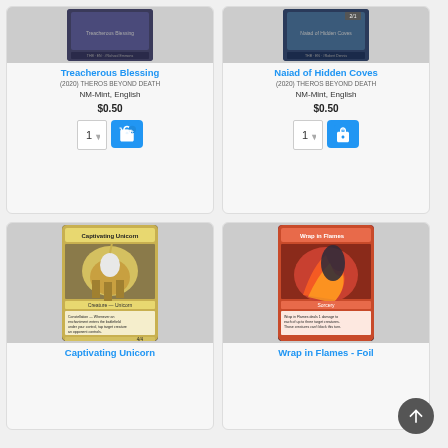[Figure (screenshot): Product card for Treacherous Blessing - Magic the Gathering card listing showing card image, title, set, condition, price and add to cart button]
[Figure (screenshot): Product card for Naiad of Hidden Coves - Magic the Gathering card listing showing card image, title, set, condition, price and add to cart button]
[Figure (screenshot): Product card for Captivating Unicorn - Magic the Gathering card listing showing card image and title]
[Figure (screenshot): Product card for Wrap in Flames - Foil - Magic the Gathering card listing showing card image and title]